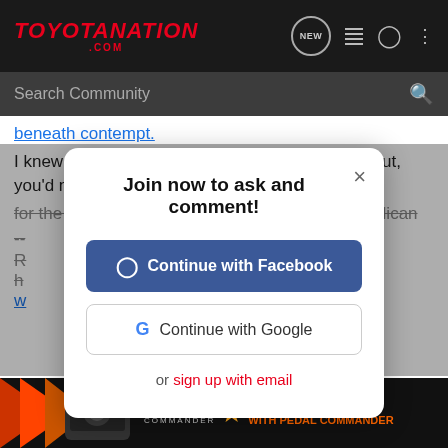[Figure (screenshot): ToyotaNation.com website header with logo, search bar, and navigation icons on dark background]
beneath contempt.
I knew that you'd agree with me. As a right wingnut, you'd never call
for the law to be enforced against another Republican
Join now to ask and comment!
Continue with Facebook
Continue with Google
or sign up with email
[Figure (screenshot): Pedal Commander advertisement banner: YOU WILL SMILE 100% WITH PEDAL COMMANDER]